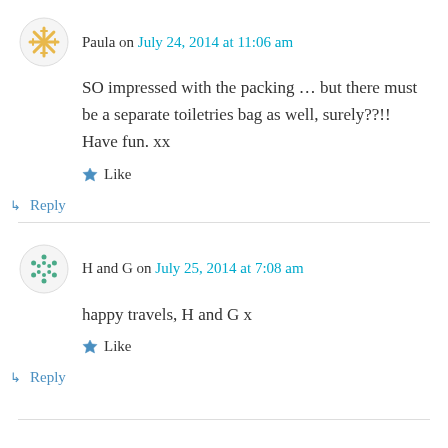Paula on July 24, 2014 at 11:06 am
SO impressed with the packing … but there must be a separate toiletries bag as well, surely??!! Have fun. xx
Like
Reply
H and G on July 25, 2014 at 7:08 am
happy travels, H and G x
Like
Reply